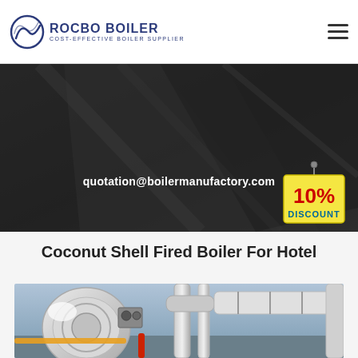[Figure (logo): ROCBO BOILER logo with circular blue swoosh icon and tagline COST-EFFECTIVE BOILER SUPPLIER]
[Figure (photo): Dark industrial boiler room interior hero banner with the email quotation@boilermanufactory.com displayed in white bold text and a 10% DISCOUNT badge sticker in the bottom right]
Coconut Shell Fired Boiler For Hotel
[Figure (photo): Close-up photo of industrial boiler equipment with pipes, metallic cylinders and industrial fittings in an industrial facility]